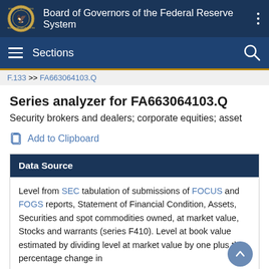Board of Governors of the Federal Reserve System
Sections
F.133 >> FA663064103.Q
Series analyzer for FA663064103.Q
Security brokers and dealers; corporate equities; asset
Add to Clipboard
Data Source
Level from SEC tabulation of submissions of FOCUS and FOGS reports, Statement of Financial Condition, Assets, Securities and spot commodities owned, at market value, Stocks and warrants (series F410). Level at book value estimated by dividing level at market value by one plus the percentage change in